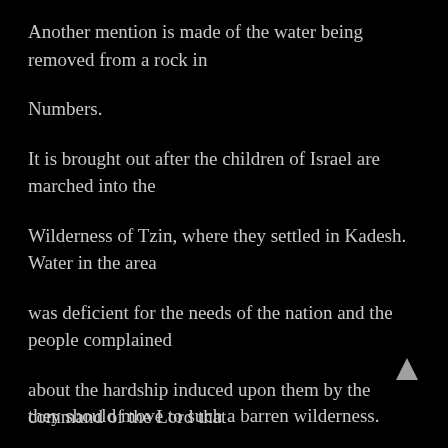Another mention is made of the water being removed from a rock in
Numbers.
It is brought out after the children of Israel are marched into the
Wilderness of Tzin, where they settled in Kadesh. Water in the area
was deficient for the needs of the nation and the people complained
about the hardship induced upon them by the command of the Lord that
they should move to such a barren wilderness.